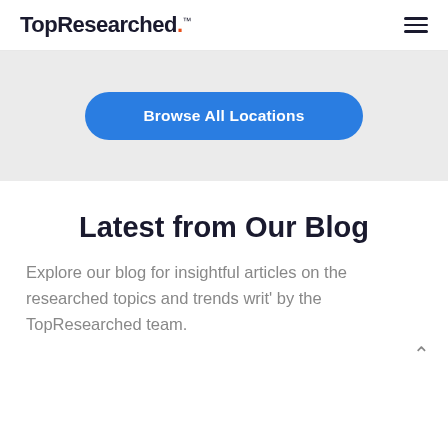TopResearched.™ [hamburger menu icon]
[Figure (screenshot): Light gray hero/banner section background area]
Browse All Locations
Latest from Our Blog
Explore our blog for insightful articles on the researched topics and trends writ' by the TopResearched team.